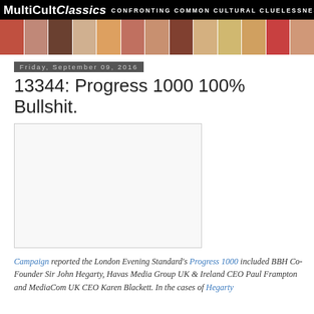MultiCultClassics CONFRONTING COMMON CULTURAL CLUELESSNESS
[Figure (photo): Photo banner strip showing diverse faces/portraits in a horizontal strip]
Friday, September 09, 2016
13344: Progress 1000 100% Bullshit.
[Figure (photo): Embedded image placeholder (white/light grey box)]
Campaign reported the London Evening Standard's Progress 1000 included BBH Co-Founder Sir John Hegarty, Havas Media Group UK & Ireland CEO Paul Frampton and MediaCom UK CEO Karen Blackett. In the cases of Hegarty